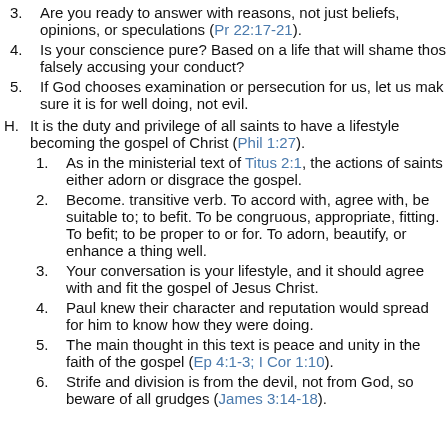3. Are you ready to answer with reasons, not just beliefs, opinions, or speculations (Pr 22:17-21).
4. Is your conscience pure? Based on a life that will shame those falsely accusing your conduct?
5. If God chooses examination or persecution for us, let us make sure it is for well doing, not evil.
H. It is the duty and privilege of all saints to have a lifestyle becoming the gospel of Christ (Phil 1:27).
1. As in the ministerial text of Titus 2:1, the actions of saints either adorn or disgrace the gospel.
2. Become. transitive verb. To accord with, agree with, be suitable to; to befit. To be congruous, appropriate, fitting. To befit; to be proper to or for. To adorn, beautify, or enhance a thing well.
3. Your conversation is your lifestyle, and it should agree with and fit the gospel of Jesus Christ.
4. Paul knew their character and reputation would spread for him to know how they were doing.
5. The main thought in this text is peace and unity in the faith of the gospel (Ep 4:1-3; I Cor 1:10).
6. Strife and division is from the devil, not from God, so beware of all grudges (James 3:14-18).